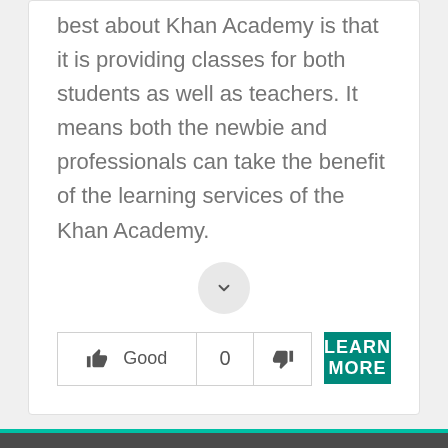best about Khan Academy is that it is providing classes for both students as well as teachers. It means both the newbie and professionals can take the benefit of the learning services of the Khan Academy.
[Figure (other): Collapse/expand chevron button (circular grey button with down chevron icon)]
[Figure (other): Vote row with Good (thumbs up), 0 count, thumbs down, and LEARN MORE button]
Contact  Privacy Policy  Sponsored Listing
Copyright © SaaS Discovery
[Facebook icon] [Twitter icon] [Back to top button]